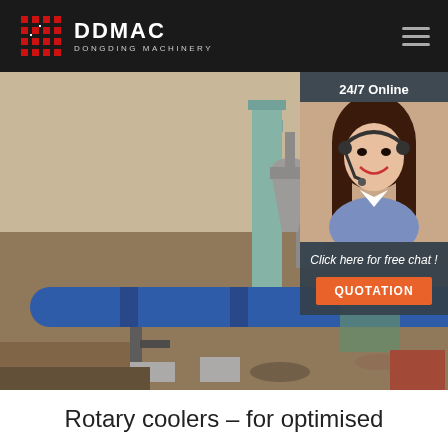[Figure (logo): DDMAC Dongding Machinery logo with red geometric icon on dark header bar]
[Figure (photo): Industrial rotary cooler machinery installation at a construction/mining site. Large blue cylindrical rotary drum in foreground with grey ducting, cyclone separators, and industrial piping in background. Outdoor industrial setting with earthworks visible.]
[Figure (photo): 24/7 Online customer service agent overlay panel: woman with headset smiling, with 'Click here for free chat!' text and orange QUOTATION button on dark background]
Rotary coolers – for optimised